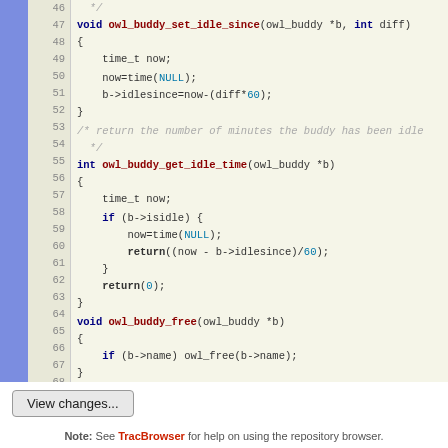[Figure (screenshot): Source code viewer showing C code lines 46-71 with syntax highlighting, line numbers, and a blue sidebar]
View changes...
Note: See TracBrowser for help on using the repository browser.